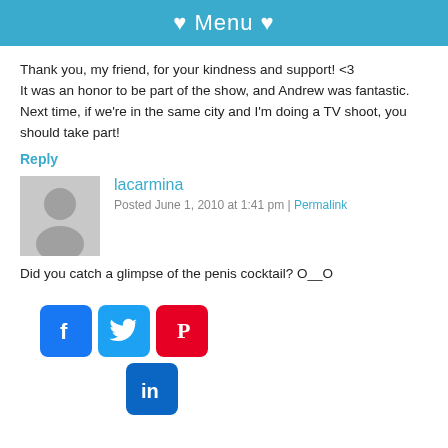♥ Menu ♥
Thank you, my friend, for your kindness and support! <3
It was an honor to be part of the show, and Andrew was fantastic.
Next time, if we're in the same city and I'm doing a TV shoot, you should take part!
Reply
lacarmina
Posted June 1, 2010 at 1:41 pm | Permalink
Did you catch a glimpse of the penis cocktail? O__O
[Figure (infographic): Social media icons: Facebook, Twitter, Pinterest (top row); LinkedIn (bottom row, centered under Pinterest)]